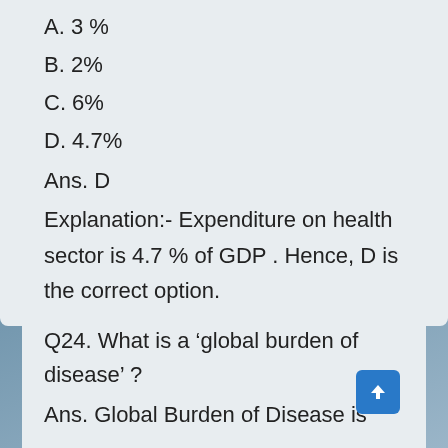A. 3 %
B. 2%
C. 6%
D. 4.7%
Ans. D
Explanation:- Expenditure on health sector is 4.7 % of GDP . Hence, D is the correct option.
Q24. What is a ‘global burden of disease’ ?
Ans. Global Burden of Disease is